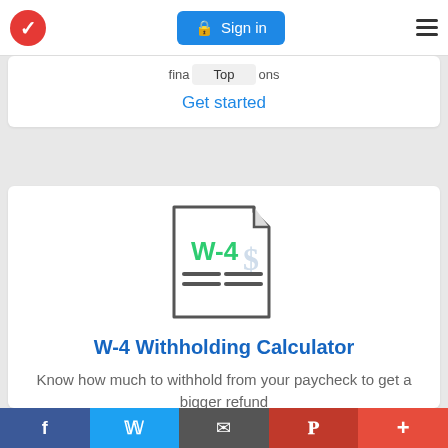Navigation bar with TurboTax logo, Sign in button, and hamburger menu
fina... Top ...ons
Get started
[Figure (illustration): W-4 document icon with green W-4 text and gray dollar sign, representing a tax withholding form]
W-4 Withholding Calculator
Know how much to withhold from your paycheck to get a bigger refund
Social sharing bar: Facebook, Twitter, Email, Pinterest, Plus